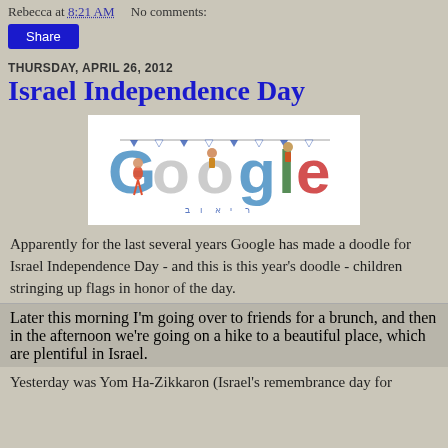Rebecca at 8:21 AM    No comments:
[Figure (other): Share button (blue rectangle with white text)]
THURSDAY, APRIL 26, 2012
Israel Independence Day
[Figure (illustration): Google Doodle for Israel Independence Day 2012 - colorful Google logo with children stringing up flags]
Apparently for the last several years Google has made a doodle for Israel Independence Day - and this is this year's doodle - children stringing up flags in honor of the day.
Later this morning I'm going over to friends for a brunch, and then in the afternoon we're going on a hike to a beautiful place, which are plentiful in Israel.
Yesterday was Yom Ha-Zikkaron (Israel's remembrance day for